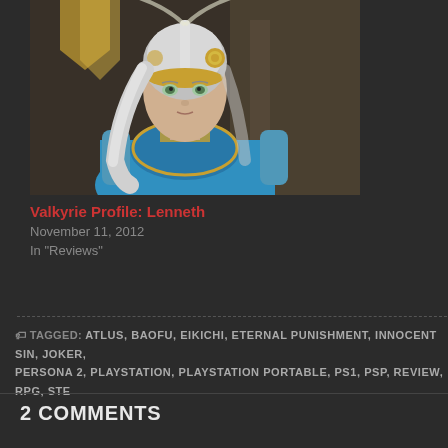[Figure (illustration): Screenshot or artwork from Valkyrie Profile: Lenneth showing a female character with white/silver hair wearing golden and silver armor with a blue cape, helmet with ornate detailing]
Valkyrie Profile: Lenneth
November 11, 2012
In "Reviews"
TAGGED: ATLUS, BAOFU, EIKICHI, ETERNAL PUNISHMENT, INNOCENT SIN, JOKER, PERSONA 2, PLAYSTATION, PLAYSTATION PORTABLE, PS1, PSP, REVIEW, RPG, STE
2 COMMENTS